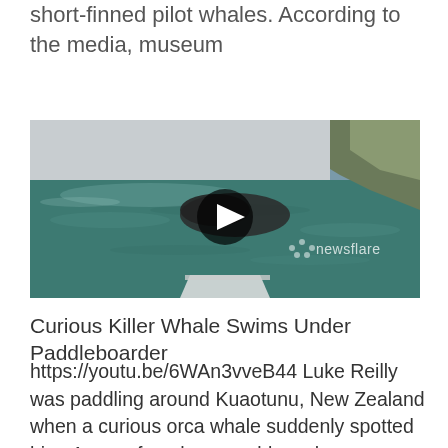short-finned pilot whales. According to the media, museum
[Figure (screenshot): Aerial/drone video screenshot showing a whale or orca swimming under a paddleboard in ocean water near a rocky coastline, with a Newsflare watermark and a play button overlay]
Curious Killer Whale Swims Under Paddleboarder
https://youtu.be/6WAn3vveB44 Luke Reilly was paddling around Kuaotunu, New Zealand when a curious orca whale suddenly spotted him. Awe or fear, how would you have reacted? Luke Reilly